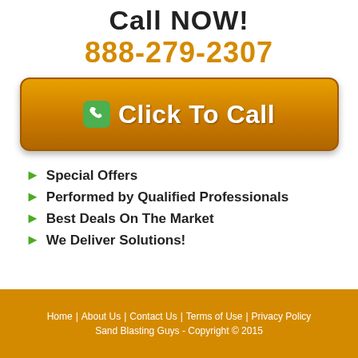Call NOW!
888-279-2307
[Figure (other): Orange rounded button with phone icon and text 'Click To Call']
Special Offers
Performed by Qualified Professionals
Best Deals On The Market
We Deliver Solutions!
Home | About Us | Contact Us | Terms of Use | Privacy Policy
Sand Blasting Guys - Copyright © 2015